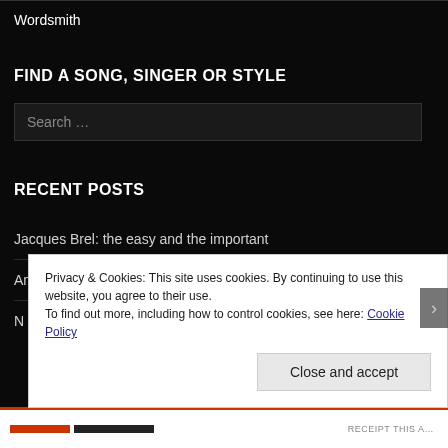Wordsmith
FIND A SONG, SINGER OR STYLE
Search ...
RECENT POSTS
Jacques Brel: the easy and the important
American Honey and God's Whisper
Privacy & Cookies: This site uses cookies. By continuing to use this website, you agree to their use.
To find out more, including how to control cookies, see here: Cookie Policy
Close and accept